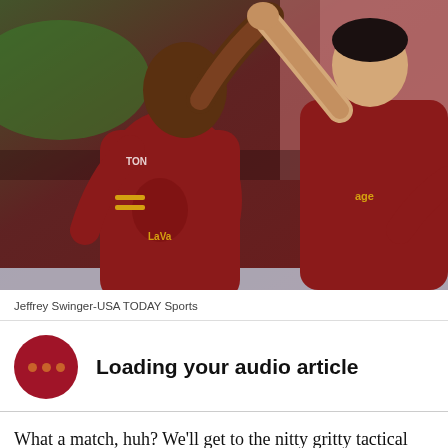[Figure (photo): Two soccer players in dark red jerseys celebrating with high fives on the field. Players wearing red MLS jerseys with sponsors. Crowd visible in background.]
Jeffrey Swinger-USA TODAY Sports
Loading your audio article
What a match, huh? We'll get to the nitty gritty tactical details soon, but for tonight, I've got some things to say